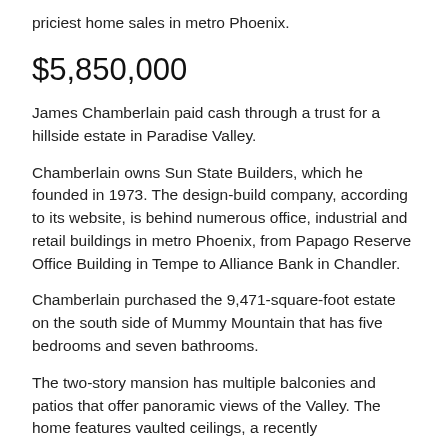priciest home sales in metro Phoenix.
$5,850,000
James Chamberlain paid cash through a trust for a hillside estate in Paradise Valley.
Chamberlain owns Sun State Builders, which he founded in 1973. The design-build company, according to its website, is behind numerous office, industrial and retail buildings in metro Phoenix, from Papago Reserve Office Building in Tempe to Alliance Bank in Chandler.
Chamberlain purchased the 9,471-square-foot estate on the south side of Mummy Mountain that has five bedrooms and seven bathrooms.
The two-story mansion has multiple balconies and patios that offer panoramic views of the Valley. The home features vaulted ceilings, a recently